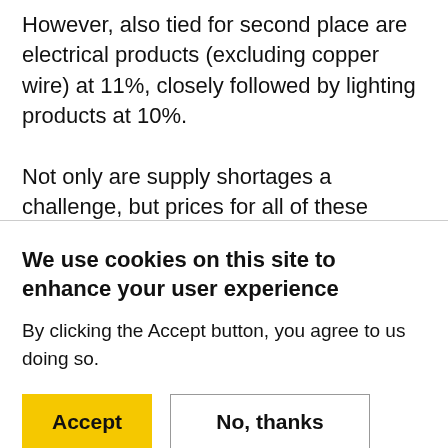However, also tied for second place are electrical products (excluding copper wire) at 11%, closely followed by lighting products at 10%.

Not only are supply shortages a challenge, but prices for all of these products are also increasing. Copper, for example, now costs about double what it did a year ago, in part because copper mines are being
We use cookies on this site to enhance your user experience
By clicking the Accept button, you agree to us doing so.
Accept | No, thanks